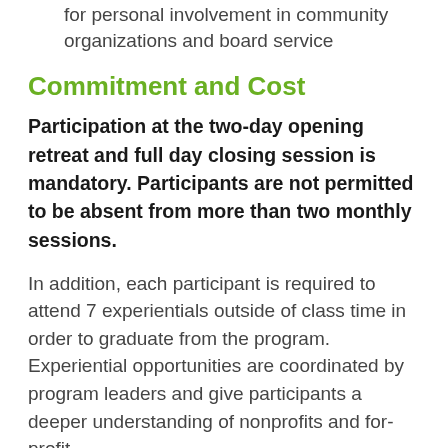identify areas of interest and opportunities for personal involvement in community organizations and board service
Commitment and Cost
Participation at the two-day opening retreat and full day closing session is mandatory. Participants are not permitted to be absent from more than two monthly sessions.
In addition, each participant is required to attend 7 experientials outside of class time in order to graduate from the program. Experiential opportunities are coordinated by program leaders and give participants a deeper understanding of nonprofits and for-profit